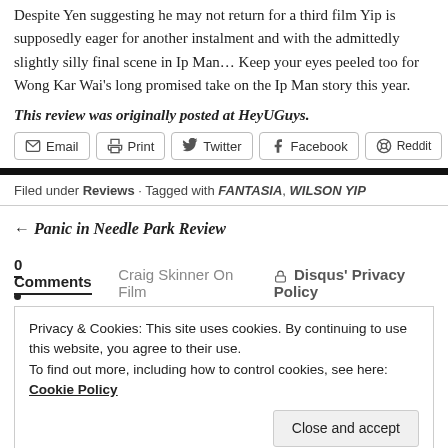Despite Yen suggesting he may not return for a third film Yip is supposedly eager for another instalment and with the admittedly slightly silly final scene in Ip Man... Keep your eyes peeled too for Wong Kar Wai's long promised take on the Ip Man story this year.
This review was originally posted at HeyUGuys.
Email | Print | Twitter | Facebook | Reddit
Filed under Reviews · Tagged with FANTASIA, WILSON YIP
← Panic in Needle Park Review
0 Comments  Craig Skinner On Film  Disqus' Privacy Policy
Privacy & Cookies: This site uses cookies. By continuing to use this website, you agree to their use. To find out more, including how to control cookies, see here: Cookie Policy
Close and accept